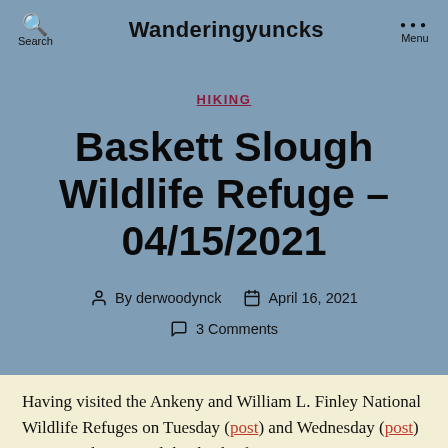Wanderingyuncks — Search | Menu
HIKING
Baskett Slough Wildlife Refuge – 04/15/2021
By derwoodynck  April 16, 2021  3 Comments
Having visited the Ankeny and William L. Finley National Wildlife Refuges on Tuesday (post) and Wednesday (post) respectively I visited the third refuge